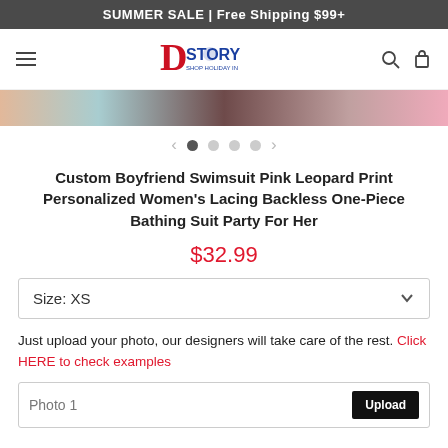SUMMER SALE | Free Shipping $99+
[Figure (logo): DStory Shop Holiday logo with large red D and blue STORY text]
[Figure (photo): Partial product image strip showing swimsuit]
Custom Boyfriend Swimsuit Pink Leopard Print Personalized Women's Lacing Backless One-Piece Bathing Suit Party For Her
$32.99
Size: XS
Just upload your photo, our designers will take care of the rest. Click HERE to check examples